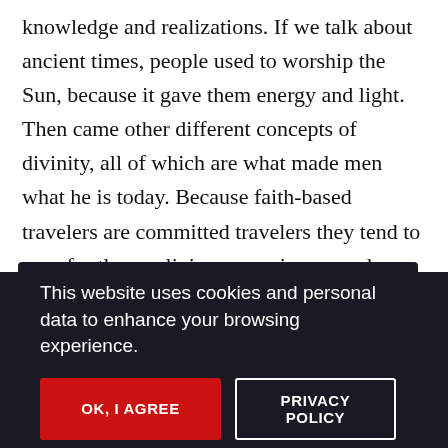knowledge and realizations. If we talk about ancient times, people used to worship the Sun, because it gave them energy and light. Then came other different concepts of divinity, all of which are what made men what he is today. Because faith-based travelers are committed travelers they tend to save for these religious experiences and travel despite the state of the economy. Most people who go on a religious journey, come back as completely different versions of themselves... [obscured by cookie banner] ...the D... ...co... ...re... ...me A... ...ary austerities for purification to relieve ourselves of
[Figure (screenshot): Cookie consent overlay on a dark semi-transparent background with text 'This website uses cookies and personal data to enhance your browsing experience.' and two buttons: 'OK, I AGREE' (red) and 'PRIVACY POLICY' (outlined white)]